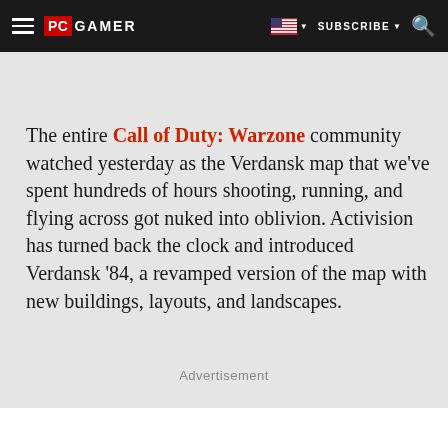PC GAMER | SUBSCRIBE
The entire Call of Duty: Warzone community watched yesterday as the Verdansk map that we've spent hundreds of hours shooting, running, and flying across got nuked into oblivion. Activision has turned back the clock and introduced Verdansk '84, a revamped version of the map with new buildings, layouts, and landscapes.
Advertisement